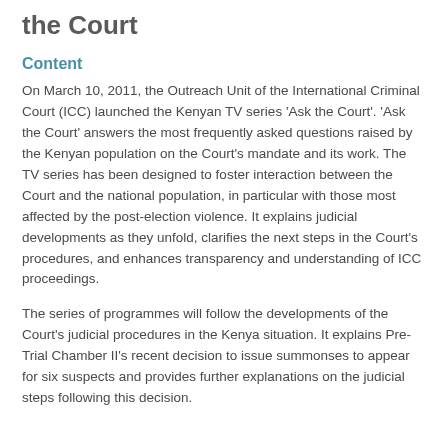the Court
Content
On March 10, 2011, the Outreach Unit of the International Criminal Court (ICC) launched the Kenyan TV series 'Ask the Court'. 'Ask the Court' answers the most frequently asked questions raised by the Kenyan population on the Court's mandate and its work. The TV series has been designed to foster interaction between the Court and the national population, in particular with those most affected by the post-election violence. It explains judicial developments as they unfold, clarifies the next steps in the Court's procedures, and enhances transparency and understanding of ICC proceedings.
The series of programmes will follow the developments of the Court's judicial procedures in the Kenya situation. It explains Pre-Trial Chamber II's recent decision to issue summonses to appear for six suspects and provides further explanations on the judicial steps following this decision.